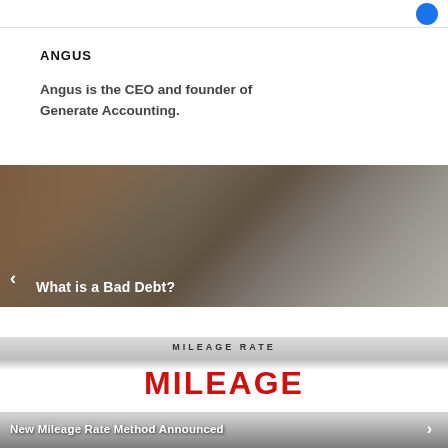ANGUS
Angus is the CEO and founder of Generate Accounting.
[Figure (photo): Hand writing on paper documents next to a laptop, representing accounting/finance work. Overlaid text: '< What is a Bad Debt?']
[Figure (photo): A mileage rate sign with large red letters spelling MILEAGE. Overlaid text: 'New Mileage Rate Method Announced >']